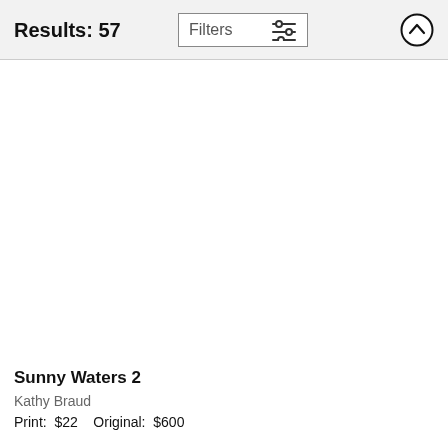Results: 57
[Figure (screenshot): Filters button with sliders icon and up-arrow circle button in header bar]
[Figure (photo): Artwork image area — white/blank placeholder for Sunny Waters 2 painting]
Sunny Waters 2
Kathy Braud
Print:  $22    Original:  $600